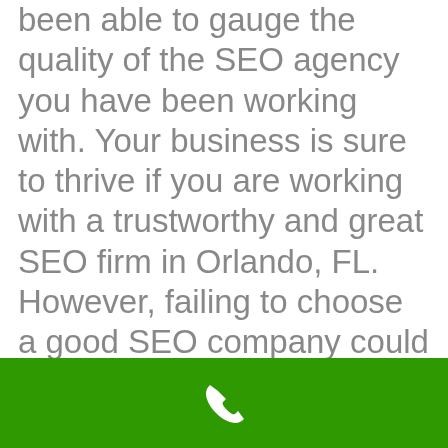been able to gauge the quality of the SEO agency you have been working with. Your business is sure to thrive if you are working with a trustworthy and great SEO firm in Orlando, FL. However, failing to choose a good SEO company could negatively impact your bottom line.
Call us today to discover how your local Orlando business can grow this year with the help of our Orlando SEO Firm!
[Figure (other): Green footer bar with a white phone/call icon centered]